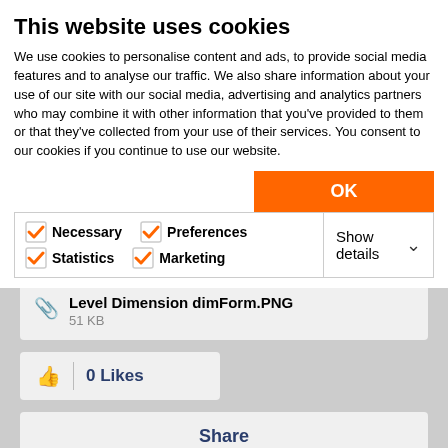This website uses cookies
We use cookies to personalise content and ads, to provide social media features and to analyse our traffic. We also share information about your use of our site with our social media, advertising and analytics partners who may combine it with other information that you've provided to them or that they've collected from your use of their services. You consent to our cookies if you continue to use our website.
[Figure (screenshot): Orange OK button and cookie consent options panel with checkboxes for Necessary, Preferences, Statistics, Marketing, and Show details dropdown]
[Figure (screenshot): Attachment file listing: Level Dimension dimForm.PNG, 51 KB]
[Figure (screenshot): 0 Likes button with thumbs up icon]
[Figure (screenshot): Share button]
[Figure (screenshot): Reply button (dark navy blue)]